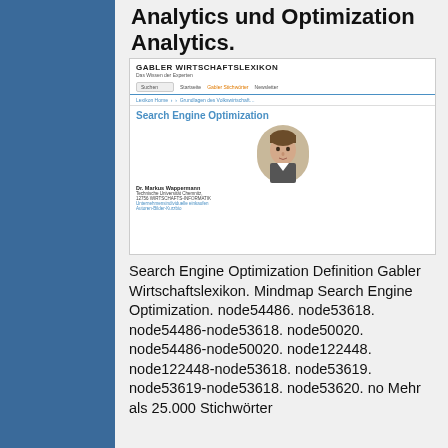Analytics und Optimization Analytics.
[Figure (screenshot): Screenshot of Gabler Wirtschaftslexikon website showing a 'Search Engine Optimization' entry with a portrait photo of Dr. Markus Wappermann, Technische Universität Chemnitz.]
Search Engine Optimization Definition Gabler Wirtschaftslexikon. Mindmap Search Engine Optimization. node54486. node53618. node54486-node53618. node50020. node54486-node50020. node122448. node122448-node53618. node53619. node53619-node53618. node53620. no Mehr als 25.000 Stichwörter